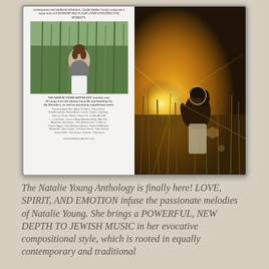[Figure (photo): Album cover for 'The Natalie Young Anthology' showing two panels: left panel with a woman in a field of tall grass wearing a grey top and white pants, album details and tracklist text; right panel with a warm golden-hour sunset photo of a woman in a field with lens flare, with italic title text 'natalie young' and 'ANTHOLOGY' in the upper right corner.]
The Natalie Young Anthology is finally here! LOVE, SPIRIT, AND EMOTION infuse the passionate melodies of Natalie Young. She brings a POWERFUL, NEW DEPTH TO JEWISH MUSIC in her evocative compositional style, which is rooted in equally contemporary and traditional